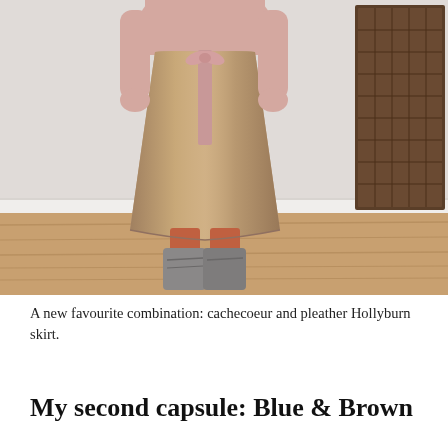[Figure (photo): A person standing wearing a pink long-sleeve top with a metallic bronze/gold faux leather (pleather) Hollyburn wrap skirt tied with a pink ribbon, orange/rust tights, and grey suede ankle boots. Background shows a white wall, wooden floor, and a wooden printer's tray on the right side.]
A new favourite combination: cachecoeur and pleather Hollyburn skirt.
My second capsule: Blue & Brown